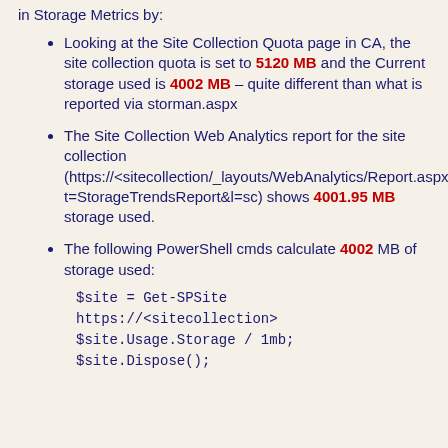in Storage Metrics by:
Looking at the Site Collection Quota page in CA, the site collection quota is set to 5120 MB and the Current storage used is 4002 MB – quite different than what is reported via storman.aspx
The Site Collection Web Analytics report for the site collection (https://<sitecollection/_layouts/WebAnalytics/Report.aspx?t=StorageTrendsReport&l=sc) shows 4001.95 MB storage used.
The following PowerShell cmds calculate 4002 MB of storage used:
$site = Get-SPSite https://<sitecollection>
$site.Usage.Storage / 1mb;
$site.Dispose();